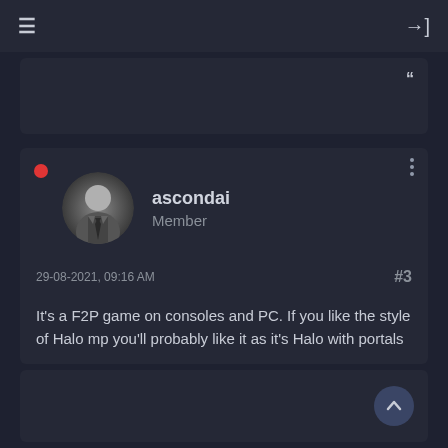≡  →]
"
ascondai
Member
29-08-2021, 09:16 AM  #3
It's a F2P game on consoles and PC. If you like the style of Halo mp you'll probably like it as it's Halo with portals